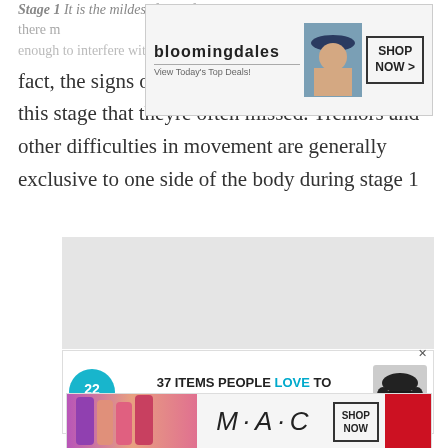Stage 1 It is the mildest form of Parkinsons. At this level, there m... enough to interfere with daily tasks and overall lifestyle. In fact, the signs of the disorder are so minimal at this stage that theyre often missed. Tremors and other difficulties in movement are generally exclusive to one side of the body during stage 1
[Figure (screenshot): Bloomingdale's advertisement banner: logo with 'bloomingdales View Today's Top Deals!', woman in hat, SHOP NOW > button]
[Figure (screenshot): Large grey advertisement placeholder block]
[Figure (screenshot): 22 Words advertisement: '37 ITEMS PEOPLE LOVE TO PURCHASE ON AMAZON' with teal circle logo and headphones image, X close button]
[Figure (screenshot): CLOSE button in grey bar]
[Figure (screenshot): MAC cosmetics advertisement: lipsticks, MAC logo in italic, SHOP NOW button, red swatch]